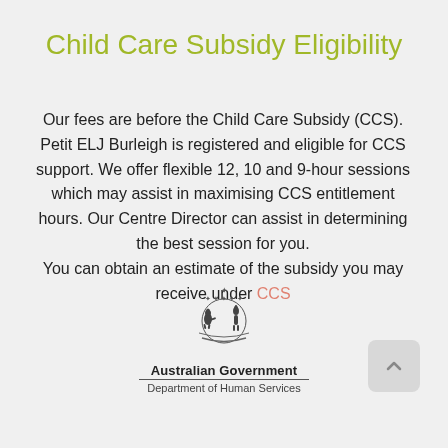Child Care Subsidy Eligibility
Our fees are before the Child Care Subsidy (CCS). Petit ELJ Burleigh is registered and eligible for CCS support. We offer flexible 12, 10 and 9-hour sessions which may assist in maximising CCS entitlement hours. Our Centre Director can assist in determining the best session for you.
You can obtain an estimate of the subsidy you may receive under CCS
[Figure (logo): Australian Government coat of arms logo with kangaroo and emu, text: Australian Government, Department of Human Services (partially visible)]